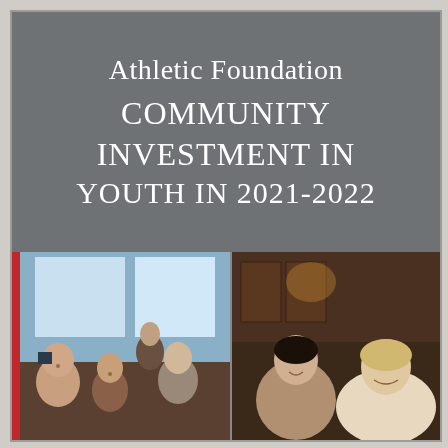Athletic Foundation COMMUNITY INVESTMENT IN YOUTH IN 2021-2022
[Figure (photo): Two side-by-side photographs showing groups of people at social gatherings. Left photo shows several people seated at a restaurant table in a bright setting, including a smiling man and women. Right photo shows two women seated and smiling in a darker wood-paneled restaurant setting.]